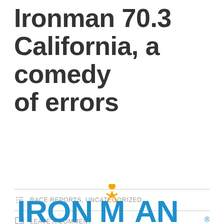Ironman 70.3 California, a comedy of errors
RACE REPORTS, UNCATEGORIZED
LEAVE A COMMENT
[Figure (logo): IRONMAN logo in blue bold letters with a yellow triathlete figure above the M]